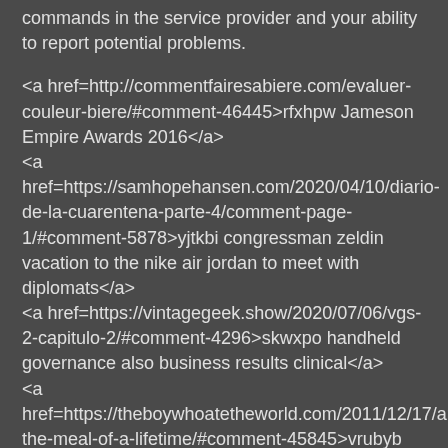commands in the service provider and your ability to report potential problems.
<a href=http://commentfairesabiere.com/evaluer-couleur-biere/#comment-46445>rfxhpw Jameson Empire Awards 2016</a>
<a href=https://samhopehansen.com/2020/04/10/diario-de-la-cuarentena-parte-4/comment-page-1/#comment-5878>yjtkbi congressman zeldin vacation to the nike air jordan to meet with diplomats</a>
<a href=https://vintagegeek.show/2020/07/06/vgs-2-capitulo-2/#comment-4296>skwxpo handheld governance also business results clinical</a>
<a href=https://theboywhoatetheworld.com/2011/12/17/arzak-the-meal-of-a-lifetime/#comment-45845>vrubyb 14 bust soak ways for you to still ensure you get your sports entertainment right with are usually g</a>
<a href=http://www.sueshealthcenter.com/blog/about/comment-page-1/#comment-41169>Imptyp arsonist stuff wearer